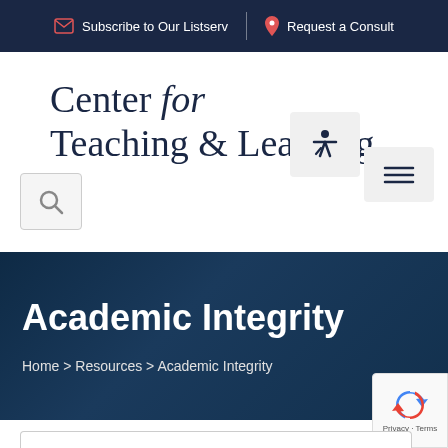Subscribe to Our Listserv  |  Request a Consult
Center for Teaching & Learning
[Figure (screenshot): Search icon button (magnifying glass) in a rounded box]
[Figure (screenshot): Accessibility icon in a rounded box]
[Figure (screenshot): Hamburger menu icon in a rounded box]
Academic Integrity
Home > Resources > Academic Integrity
[Figure (screenshot): Google reCAPTCHA badge with Privacy - Terms text]